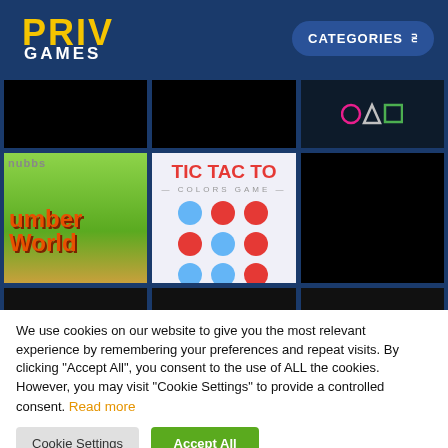PRIV GAMES
[Figure (screenshot): Game grid showing thumbnails of various browser games on a dark blue background. Row 1: three mostly black thumbnails with one showing squid-game style symbols (circle, triangle, square). Row 2: Plumber World game thumbnail (green), Tic Tac Toe Colors game thumbnail (white with red/blue circles), and a black thumbnail. Row 3: three black thumbnails partially visible.]
We use cookies on our website to give you the most relevant experience by remembering your preferences and repeat visits. By clicking "Accept All", you consent to the use of ALL the cookies. However, you may visit "Cookie Settings" to provide a controlled consent. Read more
Cookie Settings
Accept All